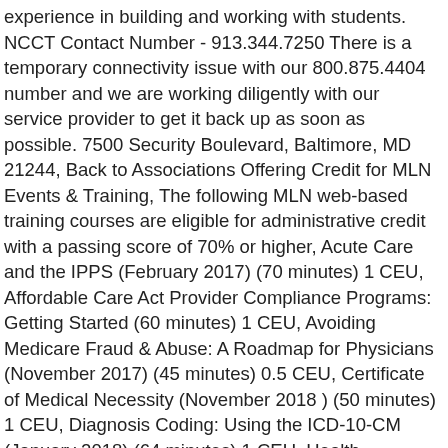experience in building and working with students. NCCT Contact Number - 913.344.7250 There is a temporary connectivity issue with our 800.875.4404 number and we are working diligently with our service provider to get it back up as soon as possible. 7500 Security Boulevard, Baltimore, MD 21244, Back to Associations Offering Credit for MLN Events & Training, The following MLN web-based training courses are eligible for administrative credit with a passing score of 70% or higher, Acute Care and the IPPS (February 2017) (70 minutes) 1 CEU, Affordable Care Act Provider Compliance Programs: Getting Started (60 minutes) 1 CEU, Avoiding Medicare Fraud & Abuse: A Roadmap for Physicians (November 2017) (45 minutes) 0.5 CEU, Certificate of Medical Necessity (November 2018 ) (50 minutes) 1 CEU, Diagnosis Coding: Using the ICD-10-CM (January 2018) (64 minutes) 1 CEU, Health Insurance Portability and Accountability Act (HIPAA) EDI Standards (March 2016) (60 minutes) 1 CEU, Home Health Change of Care Notice (HHCCN) and Advance Beneficiary Notice of